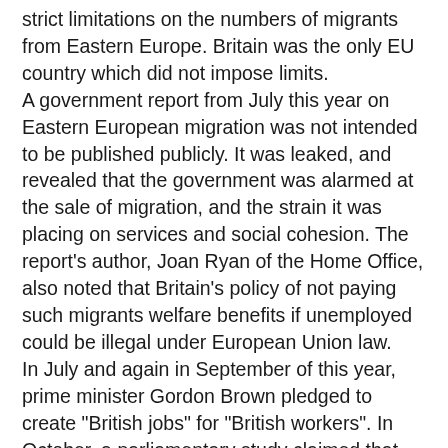strict limitations on the numbers of migrants from Eastern Europe. Britain was the only EU country which did not impose limits. A government report from July this year on Eastern European migration was not intended to be published publicly. It was leaked, and revealed that the government was alarmed at the sale of migration, and the strain it was placing on services and social cohesion. The report's author, Joan Ryan of the Home Office, also noted that Britain's policy of not paying such migrants welfare benefits if unemployed could be illegal under European Union law. In July and again in September of this year, prime minister Gordon Brown pledged to create "British jobs" for "British workers". In October, a parliamentary study claimed that Brown's pledge to create jobs for British citizens could be illegal under European Union law as it discriminated against migrant workers from the EU. Under the EU treaties approved by Labour, these migrants who come predominantly from Eastern Europe must "enjoy equal treatment". Many migrants bring their children, and as a result, it was revealed in September last year that one in eight